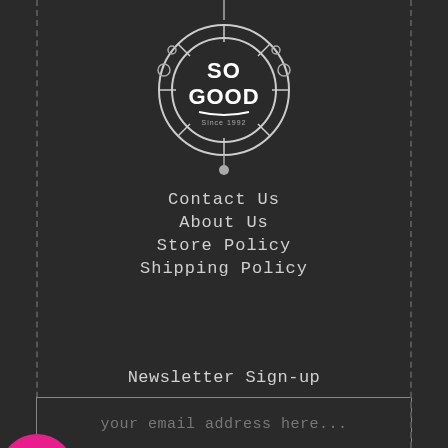[Figure (logo): So Good logo - circular emblem with compass/wheel design, white on dark background with text SO GOOD inside]
Contact Us
About Us
Store Policy
Shipping Policy
Newsletter Sign-up
your email address here...
SUBSCRIBE
[Figure (logo): Security padlock badge - gold padlock icon indicating secure transactions]
[Figure (logo): SSL Transaction badge - green shield with SSL Transaction text]
[Figure (logo): Authorize.Net Verified Merchant badge - gold circular badge]